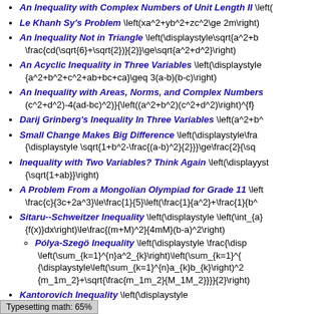An Inequality with Complex Numbers of Unit Length II \left(
Le Khanh Sy's Problem \left(xa^2+yb^2+zc^2\ge 2m\right)
An Inequality Not in Triangle \left(\displaystyle\sqrt{a^2+b} \frac{cd(\sqrt{6}+\sqrt{2})}{2}}\ge\sqrt{a^2+d^2}\right)
An Acyclic Inequality in Three Variables \left(\displaystyle {a^2+b^2+c^2+ab+bc+ca}\geq 3(a-b)(b-c)\right)
An Inequality with Areas, Norms, and Complex Numbers (c^2+d^2)-4(ad-bc)^2)}{\left((a^2+b^2)(c^2+d^2)\right)^{f}
Darij Grinberg's Inequality In Three Variables \left(a^2+b^
Small Change Makes Big Difference \left(\displaystyle\fra {\displaystyle \sqrt{1+b^2-\frac{(a-b)^2}{2}}}\ge\frac{2}{\sq
Inequality with Two Variables? Think Again \left(\displaystyle {\sqrt{1+ab}}\right)
A Problem From a Mongolian Olympiad for Grade 11 \left \frac{c}{3c+2a^3}\le\frac{1}{5}\left(\frac{1}{a^2}+\frac{1}{b^
Sitaru--Schweitzer Inequality \left(\displaystyle \left(\int_{a} {f(x)}dx\right)\le\frac{(m+M)^2}{4mM}(b-a)^2\right)
Pólya-Szegö Inequality \left(\displaystyle \frac{\disp \left(\sum_{k=1}^{n}a^2_{k}\right)\left(\sum_{k=1}^{ {\displaystyle\left(\sum_{k=1}^{n}a_{k}b_{k}\right)^2 {m_1m_2}+\sqrt{\frac{m_1m_2}{M_1M_2}}}}{2}\right)
Kantorovich Inequality \left(\displaystyle
Typesetting math: 65%